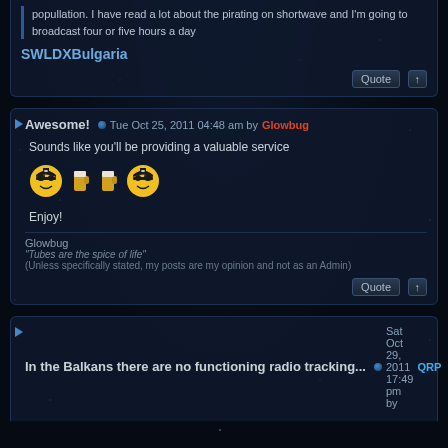popullation. I have read a lot about the pirating on shortwave and I'm going to broadcast four or five hours a day
SWLDXBulgaria
Awesome! — Tue Oct 25, 2011 04:48 am by Glowbug
Sounds like you'll be providing a valuable service
Enjoy!
Glowbug
"Tubes are the spice of life"
(Unless specifically stated, my posts are my opinion and not as an Admin)
In the Balkans there are no functioning radio tracking... — Sat Oct 29, 2011 17:49 pm by QRP